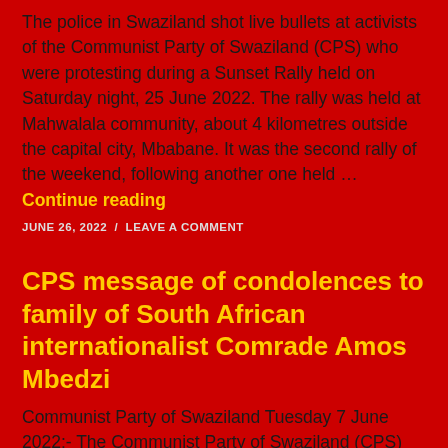The police in Swaziland shot live bullets at activists of the Communist Party of Swaziland (CPS) who were protesting during a Sunset Rally held on Saturday night, 25 June 2022. The rally was held at Mahwalala community, about 4 kilometres outside the capital city, Mbabane. It was the second rally of the weekend, following another one held … Continue reading
JUNE 26, 2022 / LEAVE A COMMENT
CPS message of condolences to family of South African internationalist Comrade Amos Mbedzi
Communist Party of Swaziland Tuesday 7 June 2022:- The Communist Party of Swaziland (CPS) has learnt of the sad news that South African internationalist Comrade